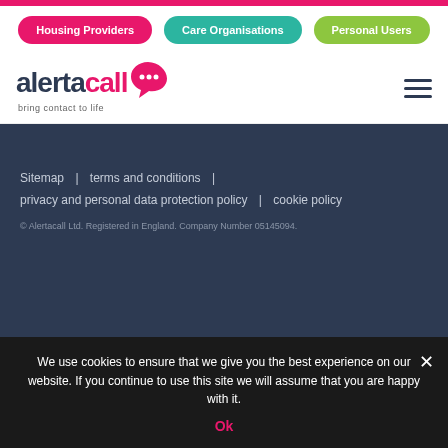Housing Providers | Care Organisations | Personal Users
[Figure (logo): Alertacall logo with speech bubble icon and tagline 'bring contact to life']
Sitemap  |  terms and conditions  |  privacy and personal data protection policy  |  cookie policy
© Alertacall Ltd. Registered in England. Company Number 05145094.
We use cookies to ensure that we give you the best experience on our website. If you continue to use this site we will assume that you are happy with it. Ok